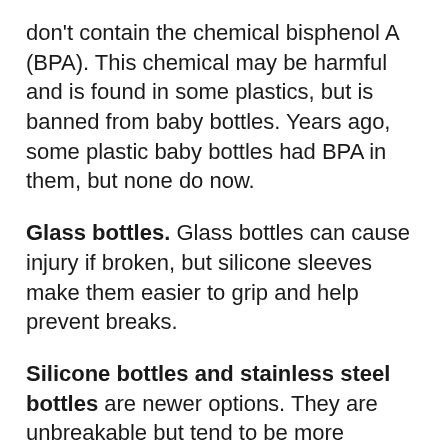don't contain the chemical bisphenol A (BPA). This chemical may be harmful and is found in some plastics, but is banned from baby bottles. Years ago, some plastic baby bottles had BPA in them, but none do now.
Glass bottles. Glass bottles can cause injury if broken, but silicone sleeves make them easier to grip and help prevent breaks.
Silicone bottles and stainless steel bottles are newer options. They are unbreakable but tend to be more expensive than plastic or glass.
Some babies do better with certain bottle shapes, vented bottles, or bottles with liners on the inside. You may need to try a few kinds before you find what works best for you and your baby.